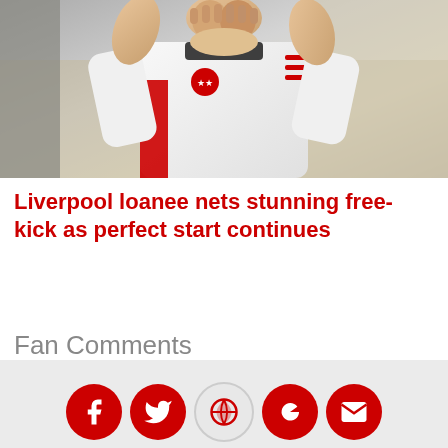[Figure (photo): A footballer in a white and red jersey with hands clasped together, appearing to applaud. The player wears a white long-sleeve kit with red stripes on the side.]
Liverpool loanee nets stunning free-kick as perfect start continues
Fan Comments
[Figure (other): Row of social media sharing icons in red circles (Facebook, Twitter, a special logo, Google+, Email) on a light grey footer bar.]